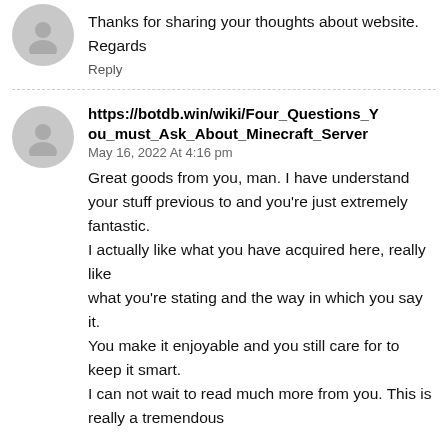[Figure (illustration): Gray circular avatar with a person silhouette icon]
Thanks for sharing your thoughts about website.
Regards
Reply
[Figure (illustration): Gray circular avatar with a person silhouette icon]
https://botdb.win/wiki/Four_Questions_You_must_Ask_About_Minecraft_Server
May 16, 2022 At 4:16 pm
Great goods from you, man. I have understand your stuff previous to and you're just extremely fantastic.
I actually like what you have acquired here, really like
what you're stating and the way in which you say it.
You make it enjoyable and you still care for to keep it smart.
I can not wait to read much more from you. This is really a tremendous